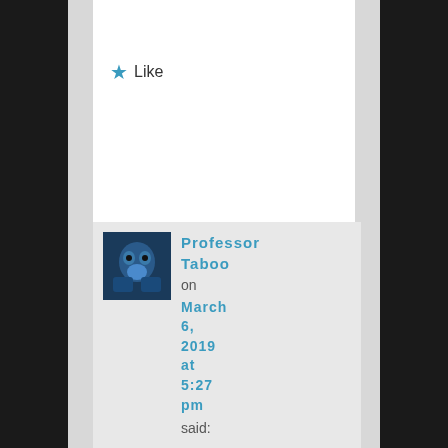relations...
★ Like
Professor Taboo on March 6, 2019 at 5:27 pm said:
[Figure (photo): Avatar/profile photo of Professor Taboo, dark blue tones showing what appears to be an owl or bird figure]
Thank you for the further clarification LoR, that's